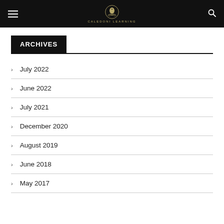CALEDONI LEARNING
ARCHIVES
July 2022
June 2022
July 2021
December 2020
August 2019
June 2018
May 2017